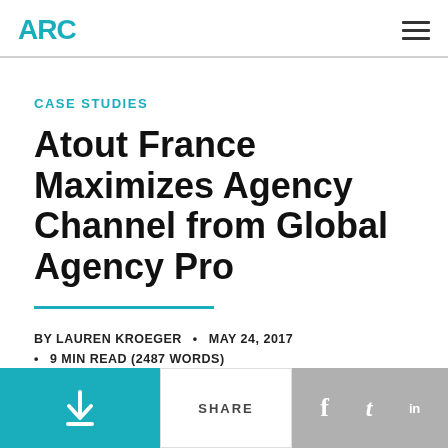ARC
CASE STUDIES
Atout France Maximizes Agency Channel from Global Agency Pro
BY LAUREN KROEGER • MAY 24, 2017 • 9 MIN READ (2487 WORDS)